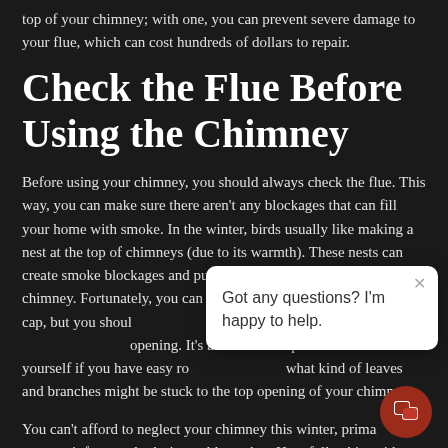top of your chimney; with one, you can prevent severe damage to your flue, which can cost hundreds of dollars to repair.
Check the Flue Before Using the Chimney
Before using your chimney, you should always check the flue. This way, you can make sure there aren't any blockages that can fill your home with smoke. In the winter, birds usually like making a nest at the top of chimneys (due to its warmth). These nests can create smoke blockages and put you at danger when using the chimney. Fortunately, you can avoid this altogether with a chimney cap, but you should check the flue before lighting a fire to make sure it has a clear opening. It's also worth inspecting the cap yourself if you have easy roof access to see what kind of leaves and branches might be stuck to the top opening of your chimney.
[Figure (other): Chat popup overlay with close button (×) and text: Got any questions? I'm happy to help. With a dark red circular chat icon in the bottom right corner.]
You can't afford to neglect your chimney this winter, primarily if you use it frequently during cold weather. Hopefully, this guide can